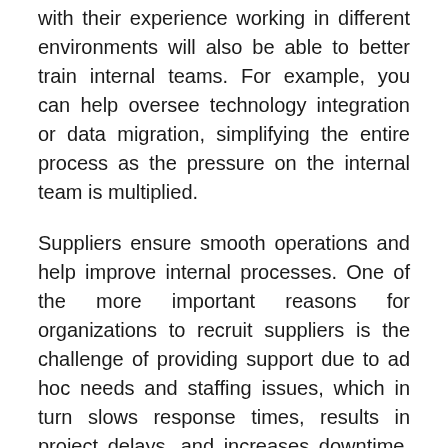with their experience working in different environments will also be able to better train internal teams. For example, you can help oversee technology integration or data migration, simplifying the entire process as the pressure on the internal team is multiplied.
Suppliers ensure smooth operations and help improve internal processes. One of the more important reasons for organizations to recruit suppliers is the challenge of providing support due to ad hoc needs and staffing issues, which in turn slows response times, results in project delays, and increases downtime. Therefore, organizations need to engage global IT service providers – who in turn will be able to provide 24/7 and flexible resources if the organization wishes to increase or decrease capacity as needed.